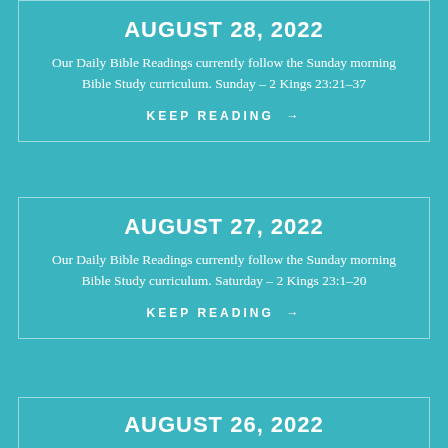AUGUST 28, 2022
Our Daily Bible Readings currently follow the Sunday morning Bible Study curriculum. Sunday – 2 Kings 23:21–37
KEEP READING →
AUGUST 27, 2022
Our Daily Bible Readings currently follow the Sunday morning Bible Study curriculum. Saturday – 2 Kings 23:1–20
KEEP READING →
AUGUST 26, 2022